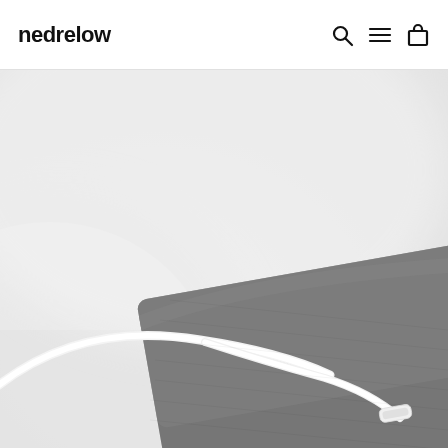nedrelow
[Figure (photo): Close-up product photo of a grey fabric laptop sleeve/case with a white USB-C cable resting on top of it, shot against a light grey background.]